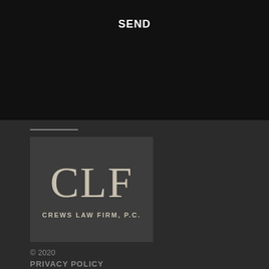SEND
[Figure (logo): CLF Crews Law Firm, P.C. logo — dark grey square with large serif letters CLF and firm name below]
© 2020
PRIVACY POLICY